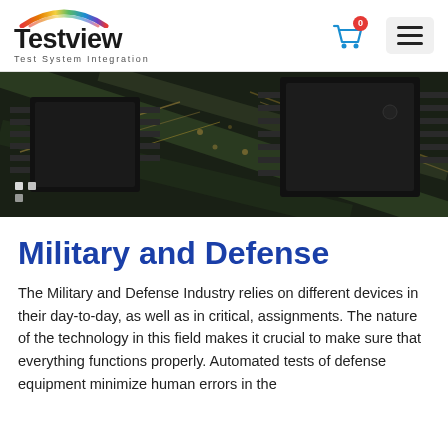[Figure (logo): Testview logo with rainbow arc above the wordmark and tagline 'Test System Integration']
[Figure (illustration): Screenshot of a webpage header showing a shopping cart icon with badge '0' and a hamburger menu icon]
[Figure (photo): Close-up photo of circuit board with multiple black IC chips and gold PCB traces against a dark background]
Military and Defense
The Military and Defense Industry relies on different devices in their day-to-day, as well as in critical, assignments. The nature of the technology in this field makes it crucial to make sure that everything functions properly. Automated tests of defense equipment minimize human errors in the